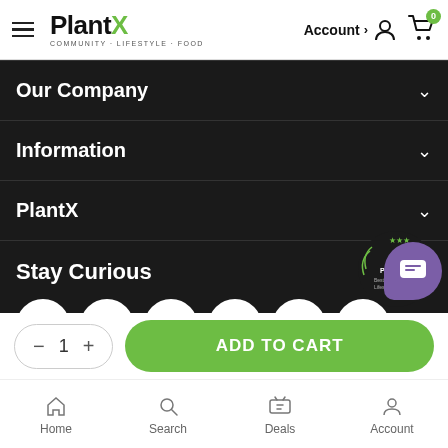PlantX — COMMUNITY · LIFESTYLE · FOOD — Account > [icon] [cart 0]
Our Company
Information
PlantX
Stay Curious
[Figure (infographic): Six social media icon circles: Facebook, LinkedIn, Twitter, Instagram, YouTube, TikTok, plus an award badge and purple chat bubble]
− 1 +
ADD TO CART
Home   Search   Deals   Account